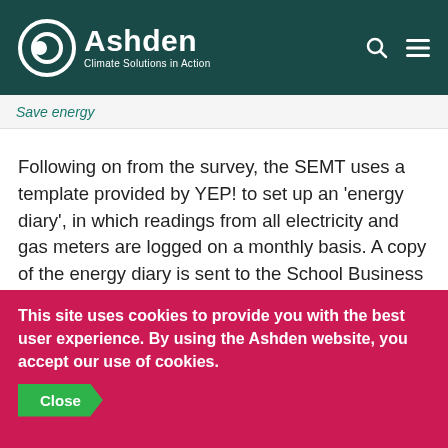Ashden Climate Solutions in Action
Save energy
Following on from the survey, the SEMT uses a template provided by YEP! to set up an ‘energy diary’, in which readings from all electricity and gas meters are logged on a monthly basis. A copy of the energy diary is sent to the School Business Manager and SWEA once a month, so they can monitor the progress of the school and the effectiveness of the programme. The SEMT also starts a campaign to encourage energy-saving behaviour change by pupils
This site uses cookies to provide you with the best user experience. By using the Ashden website, you accept our use of cookies.
Close